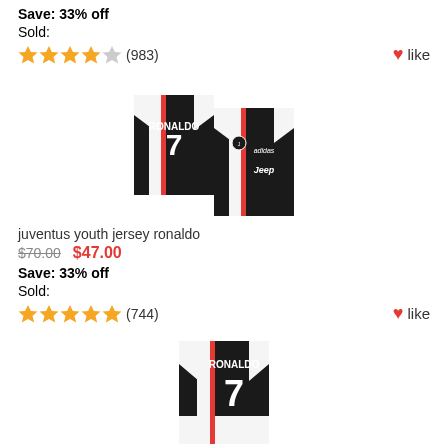Save: 33% off
Sold:
★★★★☆ (983) like
[Figure (photo): Two Juventus Ronaldo #7 soccer jerseys shown front and back, black and white with red stripe, Jeep sponsor, adidas brand]
juventus youth jersey ronaldo
$70.00   $47.00
Save: 33% off
Sold:
★★★★★ (744) like
[Figure (photo): Juventus Ronaldo #7 soccer jersey, black and white with red stripe, shown front view]